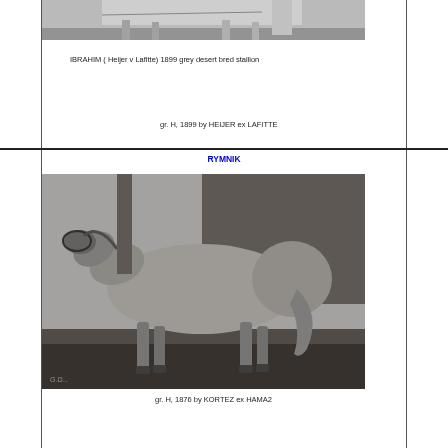[Figure (photo): Black and white photograph of a horse (partially cropped at top), being led by a handler. Historic equine photograph.]
IBRAHIM ( Heijer v Lafitte) 1899 grey desert bred stallion
gr. H, 1899 by HEIJER ex LAFITTE
RYMNIK
[Figure (photo): Black and white photograph of a grey Arabian stallion named Rymnik standing in profile, with a dark background.]
gr. H, 1876 by KORTEZ ex HAMA2